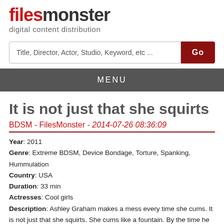[Figure (logo): FilesMonster logo with red 'files' and dark 'monster' text, subtitle 'digital content distribution']
[Figure (screenshot): Search bar with placeholder text 'Title, Director, Actor, Studio, Keyword, etc ...' and dark red Go button]
MENU
It is not just that she squirts
BDSM - FilesMonster - 2014-07-26 08:36:09
Year: 2011
Genre: Extreme BDSM, Device Bondage, Torture, Spanking, Hummulation
Country: USA
Duration: 33 min
Actresses: Cool girls
Description: Ashley Graham makes a mess every time she cums. It is not just that she squirts. She cums like a fountain. By the time he is done with